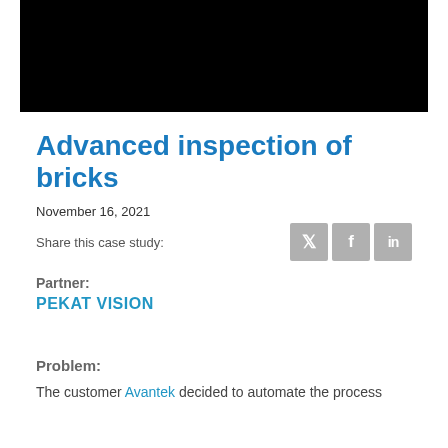[Figure (photo): Black rectangular image at the top of the page]
Advanced inspection of bricks
November 16, 2021
Share this case study:
Partner:
PEKAT VISION
Problem:
The customer Avantek decided to automate the process